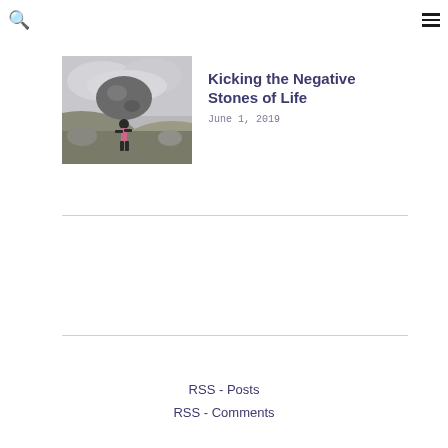Search icon and Menu icon
[Figure (photo): A person hunched over carrying a large heavy boulder/rock on their back in a misty outdoor landscape, black and white tones with some color.]
Kicking the Negative Stones of Life
June 1, 2019
RSS - Posts
RSS - Comments